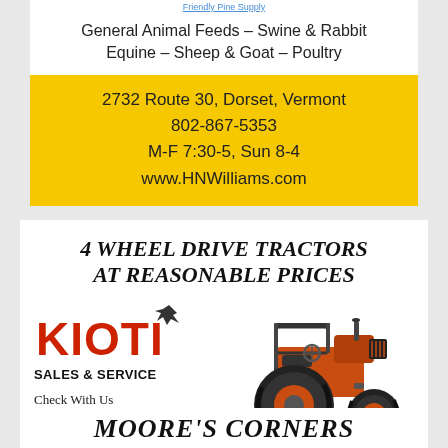Friendly Pine Supply
General Animal Feeds - Swine & Rabbit
Equine - Sheep & Goat - Poultry
2732 Route 30, Dorset, Vermont
802-867-5353
M-F 7:30-5, Sun 8-4
www.HNWilliams.com
4 WHEEL DRIVE TRACTORS AT REASONABLE PRICES
[Figure (logo): KIOTI tractor brand logo with wolf silhouette]
SALES & SERVICE
Check With Us
Before
You Buy Elsewhere
[Figure (photo): Orange KIOTI 4-wheel drive tractor]
MOORE'S CORNERS